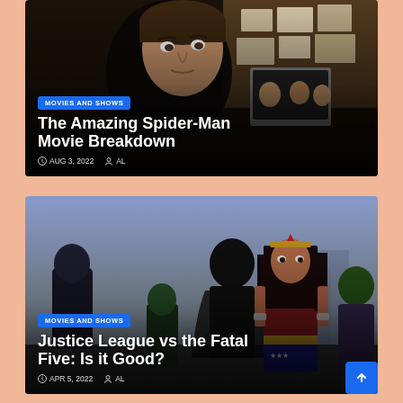[Figure (photo): Card 1: The Amazing Spider-Man Movie Breakdown. Background photo of a young man (Andrew Garfield as Spider-Man). Category badge: MOVIES AND SHOWS. Title: The Amazing Spider-Man Movie Breakdown. Date: AUG 3, 2022. Author: AL.]
The Amazing Spider-Man Movie Breakdown
AUG 3, 2022   AL
[Figure (photo): Card 2: Justice League vs the Fatal Five: Is it Good? Background shows animated Justice League characters including Wonder Woman prominently. Category badge: MOVIES AND SHOWS. Title: Justice League vs the Fatal Five: Is it Good? Date: APR 5, 2022. Author: AL.]
Justice League vs the Fatal Five: Is it Good?
APR 5, 2022   AL